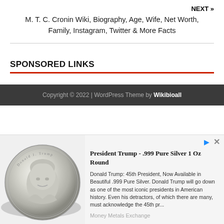NEXT »
M. T. C. Cronin Wiki, Biography, Age, Wife, Net Worth, Family, Instagram, Twitter & More Facts
SPONSORED LINKS
Copyright © 2022 | WordPress Theme by Wikibioall
[Figure (photo): Silver coin with Donald J. Trump portrait relief]
President Trump - .999 Pure Silver 1 Oz Round
Donald Trump: 45th President, Now Available in Beautiful .999 Pure Silver. Donald Trump will go down as one of the most iconic presidents in American history. Even his detractors, of which there are many, must acknowledge the 45th pr...
Money Metals Exchange